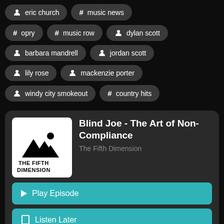eric church
# music news
# opry
# music row
dylan scott
barbara mandrell
jordan scott
lily rose
mackenzie porter
windy city smokeout
# country hits
[Figure (logo): The Fifth Dimension podcast logo: mountains with sun and text 'THE FIFTH DIMENSION' in black on white background]
Blind Joe - The Art of Non-Compliance
The Fifth Dimension
Play Episode
Listen Later